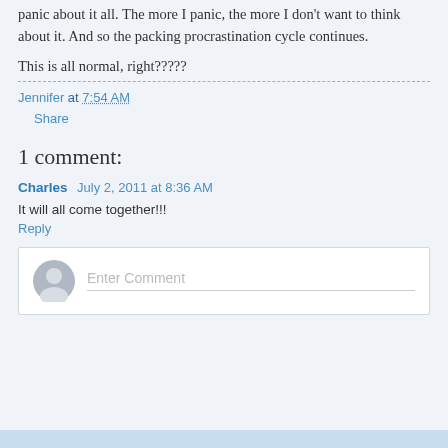panic about it all. The more I panic, the more I don't want to think about it. And so the packing procrastination cycle continues.
This is all normal, right?????
Jennifer at 7:54 AM
Share
1 comment:
Charles  July 2, 2011 at 8:36 AM
It will all come together!!!
Reply
Enter Comment